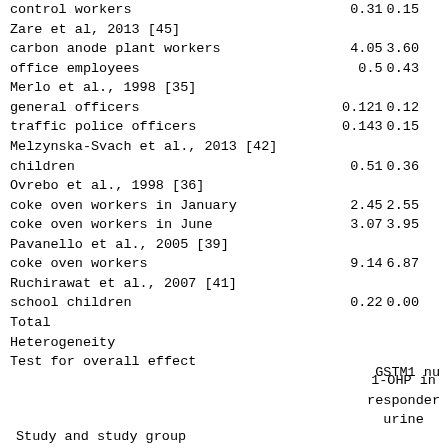| Study and study group | col2 | col3 |
| --- | --- | --- |
| control workers | 0.31 | 0.15 |
| Zare et al, 2013 [45] |  |  |
| carbon anode plant workers | 4.05 | 3.60 |
| office employees | 0.5 | 0.43 |
| Merlo et al., 1998 [35] |  |  |
| general officers | 0.121 | 0.12 |
| traffic police officers | 0.143 | 0.15 |
| Melzynska-Svach et al., 2013 [42] |  |  |
| children | 0.51 | 0.36 |
| Ovrebo et al., 1998 [36] |  |  |
| coke oven workers in January | 2.45 | 2.55 |
| coke oven workers in June | 3.07 | 3.95 |
| Pavanello et al., 2005 [39] |  |  |
| coke oven workers | 9.14 | 6.87 |
| Ruchirawat et al., 2007 [41] |  |  |
| school children | 0.22 | 0.00 |
| Total |  |  |
| Heterogeneity |  |  |
| Test for overall effect |  |  |
GSTM1 nu
1-OHP in responden urine
Study and study group